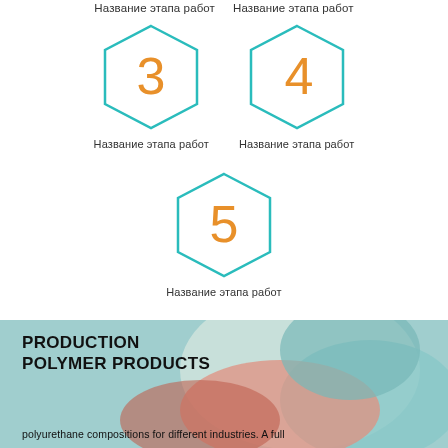Название этапа работ   Название этапа работ
[Figure (infographic): Hexagon numbered 3 with teal border and orange number]
Название этапа работ
[Figure (infographic): Hexagon numbered 4 with teal border and orange number]
Название этапа работ
[Figure (infographic): Hexagon numbered 5 with teal border and orange number]
Название этапа работ
PRODUCTION POLYMER PRODUCTS
polyurethane compositions for different industries. A full